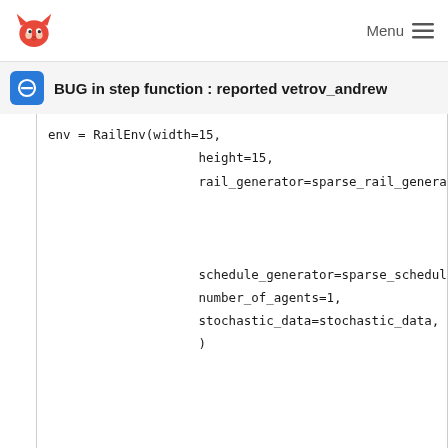Menu
BUG in step function : reported vetrov_andrew
env = RailEnv(width=15,
                    height=15,
                    rail_generator=sparse_rail_genera








                    schedule_generator=sparse_schedul
                    number_of_agents=1,
                    stochastic_data=stochastic_data,
                    )